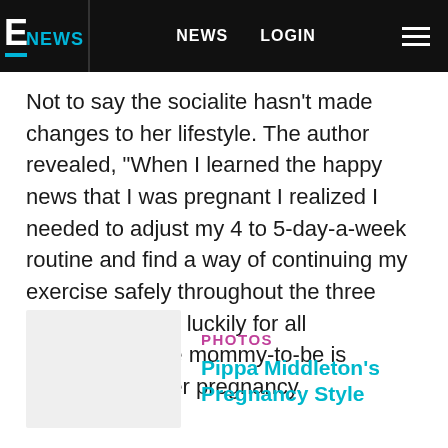E NEWS  NEWS  LOGIN
Not to say the socialite hasn't made changes to her lifestyle. The author revealed, "When I learned the happy news that I was pregnant I realized I needed to adjust my 4 to 5-day-a-week routine and find a way of continuing my exercise safely throughout the three trimesters." And luckily for all Anglophiles, the mommy-to-be is documenting her pregnancy.
[Figure (photo): Thumbnail image placeholder for Pippa Middleton's Pregnancy Style photo gallery]
PHOTOS
Pippa Middleton's Pregnancy Style